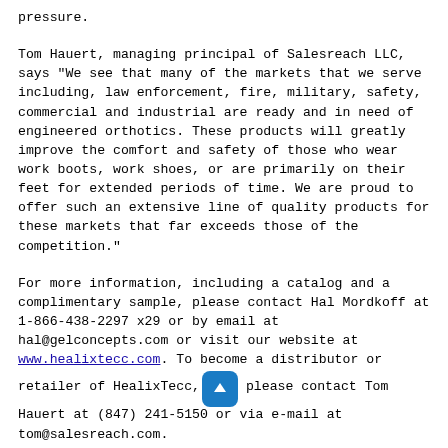pressure.
Tom Hauert, managing principal of Salesreach LLC, says "We see that many of the markets that we serve including, law enforcement, fire, military, safety, commercial and industrial are ready and in need of engineered orthotics. These products will greatly improve the comfort and safety of those who wear work boots, work shoes, or are primarily on their feet for extended periods of time. We are proud to offer such an extensive line of quality products for these markets that far exceeds those of the competition."
For more information, including a catalog and a complimentary sample, please contact Hal Mordkoff at 1-866-438-2297 x29 or by email at hal@gelconcepts.com or visit our website at www.healixtecc.com. To become a distributor or retailer of HealixTecc, please contact Tom Hauert at (847) 241-5150 or via e-mail at tom@salesreach.com.